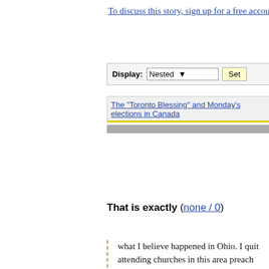To discuss this story, sign up for a free account
Display: Nested Set
The "Toronto Blessing" and Monday's elections in Canada
That is exactly (none / 0)
what I believe happened in Ohio. I quit attending churches in this area preach hatred--they enjoy everywhere. Somehow, my fellow brainwashed citizens a was really bad before the election. A janitor he "didn't wanna see two men kissing at his s I tried to explain how ridiculous that was, b not think pastors could influence people this I thought to myself, surely people remembe this. Obviously not. That is why I went to church Sunday--to hea Americans into non-thinking zombies. I have stopped trying to convince people m